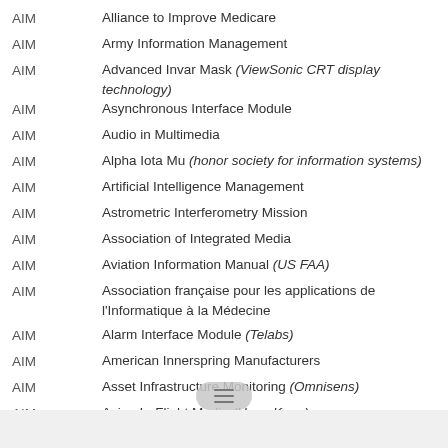AIM — Alliance to Improve Medicare
AIM — Army Information Management
AIM — Advanced Invar Mask (ViewSonic CRT display technology)
AIM — Asynchronous Interface Module
AIM — Audio in Multimedia
AIM — Alpha Iota Mu (honor society for information systems)
AIM — Artificial Intelligence Management
AIM — Astrometric Interferometry Mission
AIM — Association of Integrated Media
AIM — Aviation Information Manual (US FAA)
AIM — Association française pour les applications de l'Informatique à la Médecine
AIM — Alarm Interface Module (Telabs)
AIM — American Innerspring Manufacturers
AIM — Asset Infrastructure Monitoring (Omnisens)
AIM — Asian In-Flight Media (Hong Kong)
AIM — Alliance for Innovative Manufacturing at Stanford